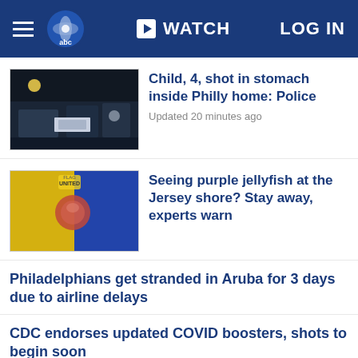6abc WATCH LOG IN
Child, 4, shot in stomach inside Philly home: Police
Updated 20 minutes ago
Seeing purple jellyfish at the Jersey shore? Stay away, experts warn
Philadelphians get stranded in Aruba for 3 days due to airline delays
CDC endorses updated COVID boosters, shots to begin soon
Updated 3 hours ago
Here's what's happening down at the shore this weekend
Updated 31 minutes ago
Ida damage: Bridgeport still cleaning up year after storm